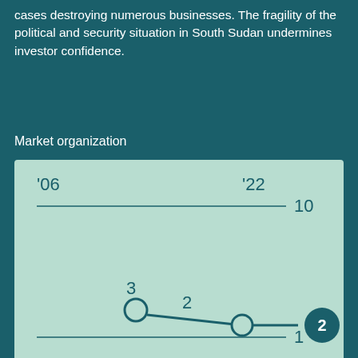cases destroying numerous businesses. The fragility of the political and security situation in South Sudan undermines investor confidence.
Market organization
[Figure (line-chart): Market organization]